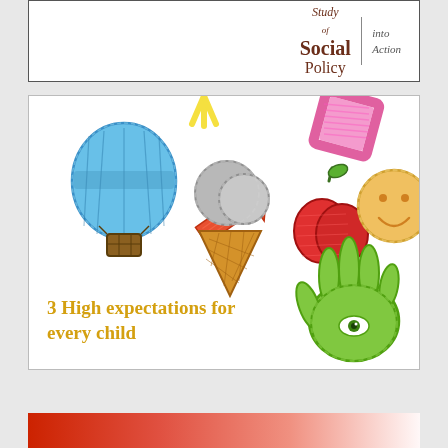[Figure (logo): Study of Social Policy | into Action logo in dark red serif font with vertical divider]
[Figure (illustration): Colorful child-drawn style illustrations: blue hot air balloon, yellow sun rays, pink diamond/kite, orange-red arrow, grey ice cream cone, red apples, orange smiley face circle, green hand with eye. Text overlay: '3 High expectations for every child' in golden/yellow serif font.]
[Figure (illustration): Red gradient banner at the bottom of the page]